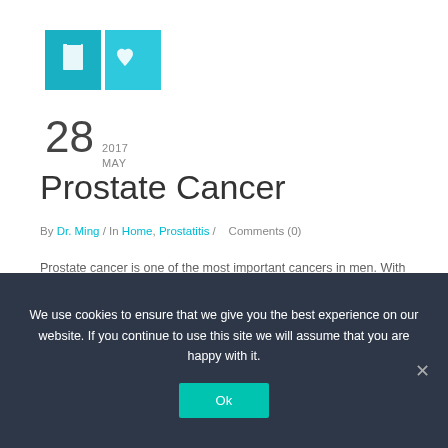[Figure (logo): Two teal/cyan colored blocks side by side: left block has a document icon, right block has a heart icon]
28  2017 MAY
Prostate Cancer
By Dr. Ming / In Home, Prostatitis /    Comments (0)
Prostate cancer is one of the most important cancers in men. With a worldwide incidence of 25.3 per 100,000 it is the second most common cancer in men, with large differences between countries. Important clues on risk factors remain to be found. Age, genetic factors and environmental influences have been studied. Incidence has been increasing.
We use cookies to ensure that we give you the best experience on our website. If you continue to use this site we will assume that you are happy with it.